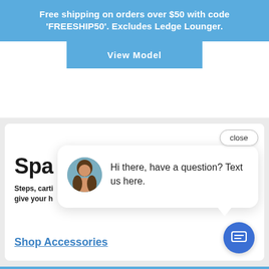Free shipping on orders over $50 with code 'FREESHIP50'. Excludes Ledge Lounger.
View Model
close
Spa A
Steps, cart... give your h...
Hi there, have a question? Text us here.
Shop Accessories